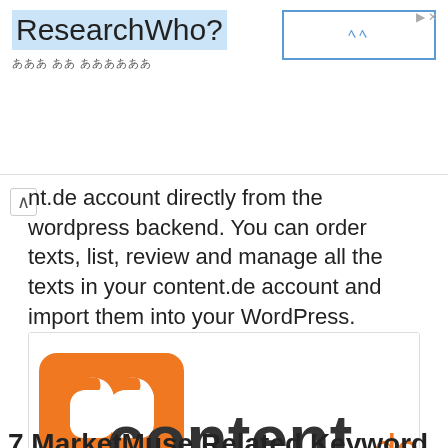ResearchWho?    第一章 第二章
nt.de account directly from the wordpress backend. You can order texts, list, review and manage all the texts in your content.de account and import them into your WordPress.
[Figure (logo): content.de logo with orange quotation mark icon and tagline EINFACH GUTER INHALT]
Contentde
7 MarketMuse Related Keyword